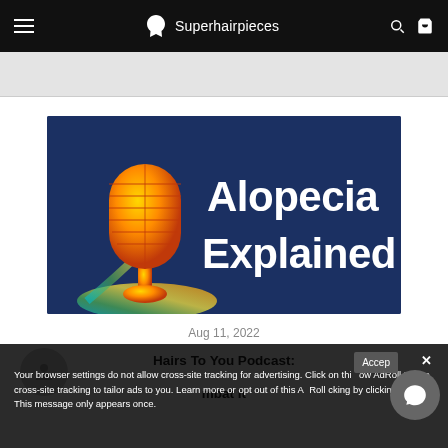Superhairpieces
[Figure (illustration): Alopecia Explained podcast cover image with orange microphone on dark navy blue background]
Aug 11, 2022
Hairs To You Podcast:
mbat it
Your browser settings do not allow cross-site tracking for advertising. Click on this to allow AdRoll to use cross-site tracking to tailor ads to you. Learn more or opt out of this AdRoll tracking by clicking here. This message only appears once.